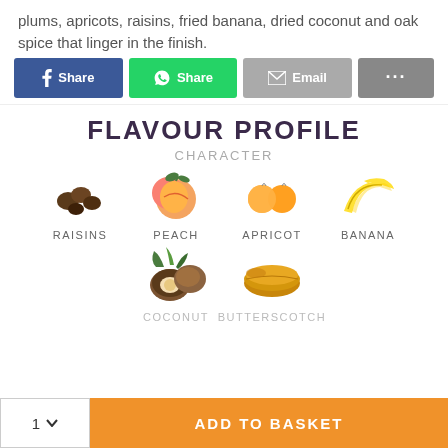plums, apricots, raisins, fried banana, dried coconut and oak spice that linger in the finish.
[Figure (screenshot): Row of social sharing buttons: Facebook Share (blue), WhatsApp Share (green), Email (grey), more options (dark grey with ellipsis)]
FLAVOUR PROFILE
CHARACTER
[Figure (infographic): Flavour profile icons row 1: Raisins, Peach, Apricot, Banana]
[Figure (infographic): Flavour profile icons row 2: Coconut, Butterscotch (partially visible)]
[Figure (screenshot): Bottom bar: quantity selector (1 with dropdown) and orange ADD TO BASKET button]